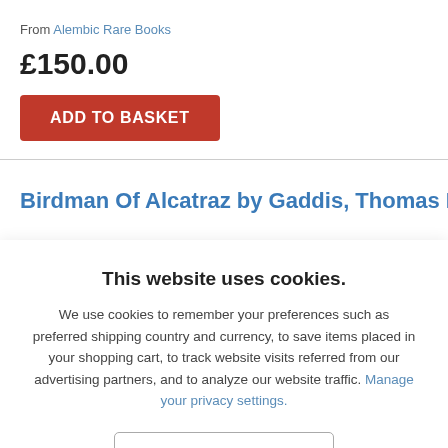From Alembic Rare Books
£150.00
ADD TO BASKET
Birdman Of Alcatraz by Gaddis, Thomas E
This website uses cookies.
We use cookies to remember your preferences such as preferred shipping country and currency, to save items placed in your shopping cart, to track website visits referred from our advertising partners, and to analyze our website traffic. Manage your privacy settings.
AGREE AND CLOSE